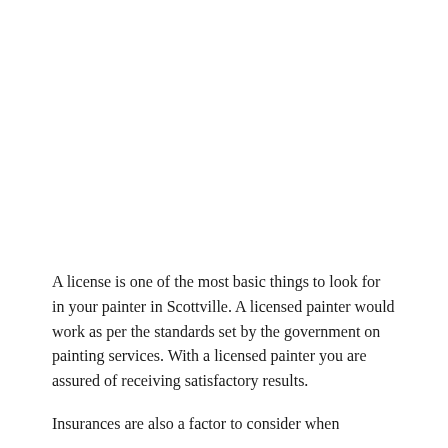A license is one of the most basic things to look for in your painter in Scottville. A licensed painter would work as per the standards set by the government on painting services. With a licensed painter you are assured of receiving satisfactory results.
Insurances are also a factor to consider when